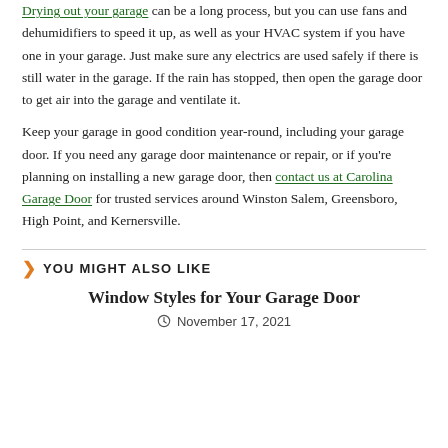Drying out your garage can be a long process, but you can use fans and dehumidifiers to speed it up, as well as your HVAC system if you have one in your garage. Just make sure any electrics are used safely if there is still water in the garage. If the rain has stopped, then open the garage door to get air into the garage and ventilate it.
Keep your garage in good condition year-round, including your garage door. If you need any garage door maintenance or repair, or if you're planning on installing a new garage door, then contact us at Carolina Garage Door for trusted services around Winston Salem, Greensboro, High Point, and Kernersville.
YOU MIGHT ALSO LIKE
Window Styles for Your Garage Door
November 17, 2021